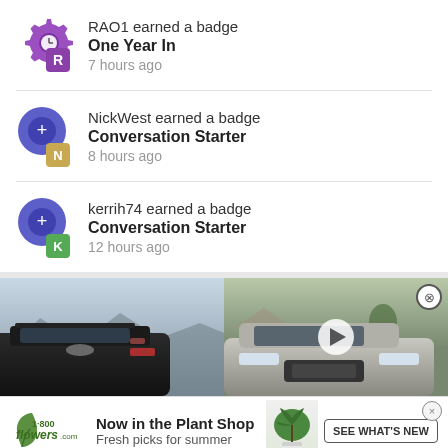RAO1 earned a badge
One Year In
7 hours ago
NickWest earned a badge
Conversation Starter
8 hours ago
kerrih74 earned a badge
Conversation Starter
12 hours ago
[Figure (photo): Lexus vehicle advertisement showing two Lexus SUVs - rear view on left, front/side view on right with play button overlay]
[Figure (illustration): 1-800-flowers.com advertisement with plant shop promotion showing monstera plant, headline 'Now in the Plant Shop', subtext 'Fresh picks for summer', and 'SEE WHAT'S NEW' button]